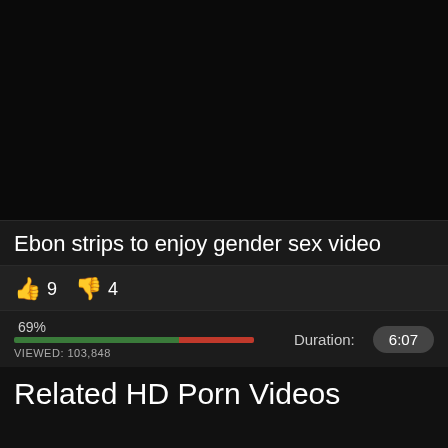[Figure (photo): Black video player area]
Ebon strips to enjoy gender sex video
👍 9  👎 4
69%  VIEWED: 103,848  Duration: 6:07
Related HD Porn Videos